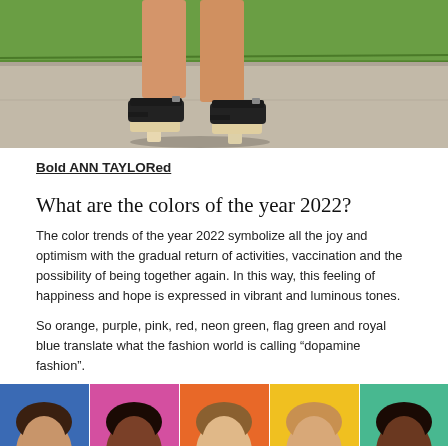[Figure (photo): Close-up photo of a woman's legs and feet wearing black platform heeled sandals with ankle straps, standing on a sidewalk with green grass in the background.]
Bold ANN TAYLORed
What are the colors of the year 2022?
The color trends of the year 2022 symbolize all the joy and optimism with the gradual return of activities, vaccination and the possibility of being together again. In this way, this feeling of happiness and hope is expressed in vibrant and luminous tones.
So orange, purple, pink, red, neon green, flag green and royal blue translate what the fashion world is calling “dopamine fashion”.
[Figure (photo): Five women each posing against a different colored background: blue, pink, orange, yellow, and teal/green. Each woman is visible from the shoulders up.]